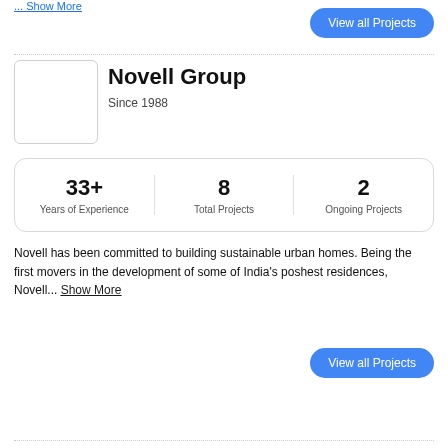... Show More
View all Projects
Novell Group
Since 1988
| Years of Experience | Total Projects | Ongoing Projects |
| --- | --- | --- |
| 33+ | 8 | 2 |
Novell has been committed to building sustainable urban homes. Being the first movers in the development of some of India's poshest residences, Novell... Show More
View all Projects